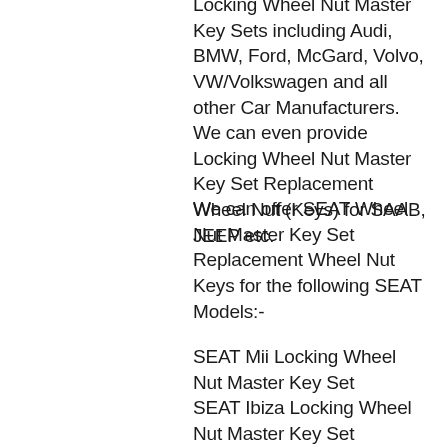Locking Wheel Nut Master Key Sets including Audi, BMW, Ford, McGard, Volvo, VW/Volkswagen and all other Car Manufacturers. We can even provide Locking Wheel Nut Master Key Set Replacement Wheel Nut (Keys) for SAAB, JEEP etc.
We can offer SEAT Wheel Nut Master Key Set Replacement Wheel Nut Keys for the following SEAT Models:-
SEAT Mii Locking Wheel Nut Master Key Set
SEAT Ibiza Locking Wheel Nut Master Key Set
SEAT Toledo Locking Wheel Nut Master Key Set
SEAT Leon Locking Wheel Nut Master